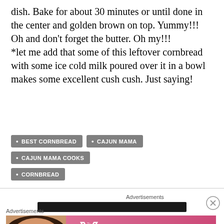dish. Bake for about 30 minutes or until done in the center and golden brown on top. Yummy!!! Oh and don't forget the butter. Oh my!!!
*let me add that some of this leftover cornbread with some ice cold milk poured over it in a bowl makes some excellent cush cush. Just saying!
BEST CORNBREAD
CAJUN MAMA
CAJUN MAMA COOKS
CORNBREAD
Advertisements
[Figure (other): Dark advertisement banner bar]
Advertisements
[Figure (other): Victoria's Secret advertisement with model, VS logo, SHOP THE COLLECTION text, and SHOP NOW button]